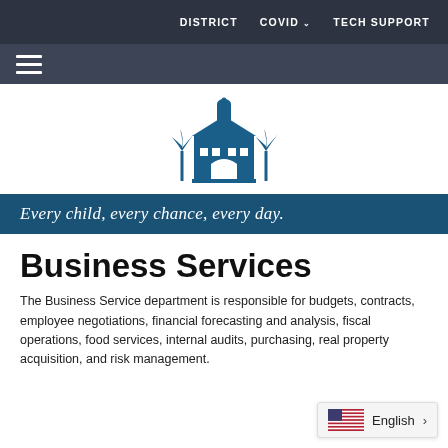DISTRICT   COVID ∨   TECH SUPPORT
[Figure (logo): School district building logo in blue]
Every child, every chance, every day.
Business Services
The Business Service department is responsible for budgets, contracts, employee negotiations, financial forecasting and analysis, fiscal operations, food services, internal audits, purchasing, real property acquisition, and risk management.